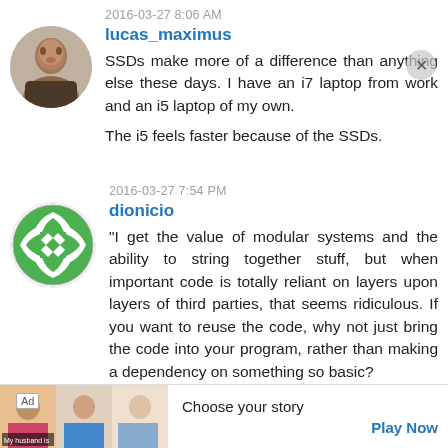2016-03-27 8:06 AM
lucas_maximus
[Figure (photo): Circular avatar photo of user lucas_maximus, showing a man]
SSDs make more of a difference than anything else these days. I have an i7 laptop from work and an i5 laptop of my own.

The i5 feels faster because of the SSDs.
2016-03-27 7:54 PM
dionicio
[Figure (logo): Circular green logo with white diamond/cross pattern for user dionicio]
"I get the value of modular systems and the ability to string together stuff, but when important code is totally reliant on layers upon layers of third parties, that seems ridiculous. If you want to reuse the code, why not just bring the code into your program, rather than making a dependency on something so basic?
Ad  Choose your story  Play Now